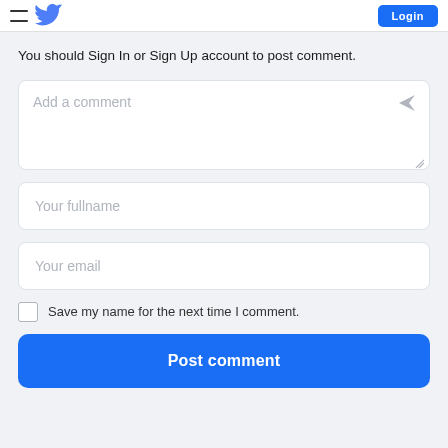Login
You should Sign In or Sign Up account to post comment.
Add a comment
Your fullname
Your email
Save my name for the next time I comment.
Post comment